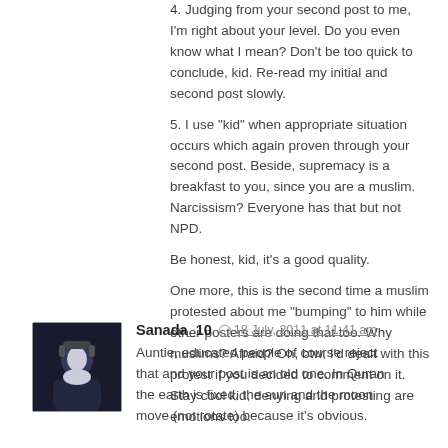4. Judging from your second post to me, I'm right about your level. Do you even know what I mean? Don't be too quick to conclude, kid. Re-read my initial and second post slowly.
5. I use "kid" when appropriate situation occurs which again proven through your second post. Beside, supremacy is a breakfast to you, since you are a muslim. Narcissism? Everyone has that but not NPD.
Be honest, kid, it's a good quality.
One more, this is the second time a muslim protested about me "bumping" to him while other posters are doing that too. Why muslims? Afraid? Oh, btw, I'd dealt with this protest if you decided to comment on it. Stay cool kid, denying and protesting are emotions too.
Sanada_10 — 18 July, 2011 at 11:41 am
Auntie, educated people of course reject that and your post is an old one. In Quran the earth is fixed, the sun and the moon move (not rotate) because it's obvious.